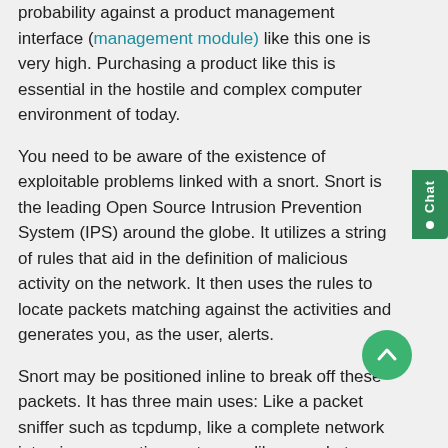probability against a product management interface (management module) like this one is very high. Purchasing a product like this is essential in the hostile and complex computer environment of today.
You need to be aware of the existence of exploitable problems linked with a snort. Snort is the leading Open Source Intrusion Prevention System (IPS) around the globe. It utilizes a string of rules that aid in the definition of malicious activity on the network. It then uses the rules to locate packets matching against the activities and generates you, as the user, alerts.
Snort may be positioned inline to break off these packets. It has three main uses: Like a packet sniffer such as tcpdump, like a complete network intrusion prevention system, or like a packet logger essential in debugging network traffic. You can download snort and configure it for your business or personal use.
VPN in Security Appliances
A VPN device is a network appliance fitted with advanced